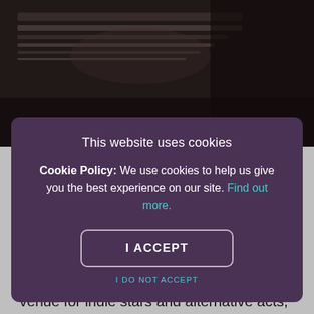[Figure (photo): Background photo of a dark interior space with striped ceiling/awning visible at the top of the page]
fitting that this bar, restaurant and venue would find itself in showbusiness. An excellent Sheffield music venue for indie stars and alternative acts, Picture
This website uses cookies
Cookie Policy: We use cookies to help us give you the best experience on our site. Find out more.
I ACCEPT
I DO NOT ACCEPT